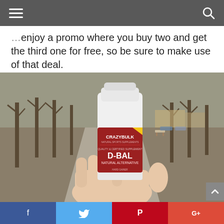[hamburger menu] [search icon]
enjoy a promo where you buy two and get the third one for free, so be sure to make use of that deal.
[Figure (photo): A hand holding a white bottle of CrazyBulk D-BAL Natural Alternative supplement (90 capsules) in an outdoor park setting with bare trees and a path in the background.]
[Facebook] [Twitter] [Pinterest] [Google+]